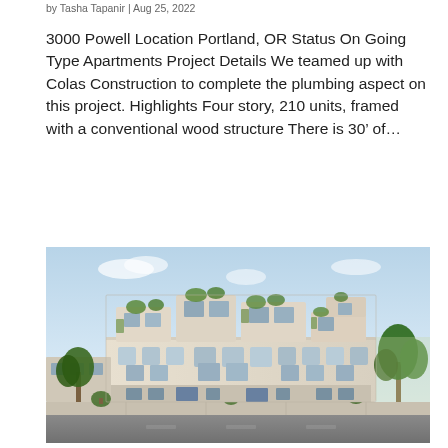by Tasha Tapanir | Aug 25, 2022
3000 Powell Location Portland, OR Status On Going Type Apartments Project Details We teamed up with Colas Construction to complete the plumbing aspect on this project. Highlights Four story, 210 units, framed with a conventional wood structure There is 30’ of…
[Figure (photo): Architectural rendering of a modern multi-story apartment building (3000 Powell, Portland OR) with stepped massing, large windows, green rooftop plantings, and surrounding trees and landscaping, viewed from street level.]